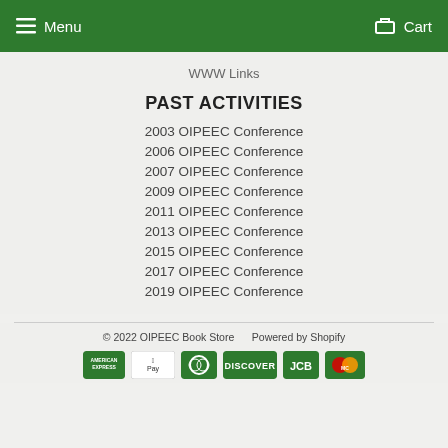Menu   Cart
WWW Links
PAST ACTIVITIES
2003 OIPEEC Conference
2006 OIPEEC Conference
2007 OIPEEC Conference
2009 OIPEEC Conference
2011 OIPEEC Conference
2013 OIPEEC Conference
2015 OIPEEC Conference
2017 OIPEEC Conference
2019 OIPEEC Conference
© 2022 OIPEEC Book Store    Powered by Shopify
[Figure (logo): Payment method icons: American Express, Apple Pay, Diners Club, Discover, JCB, Mastercard]